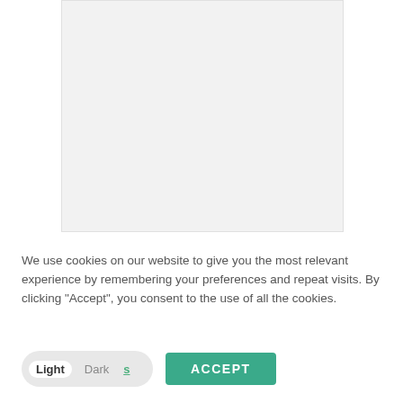[Figure (other): Light gray placeholder image area]
We use cookies on our website to give you the most relevant experience by remembering your preferences and repeat visits. By clicking "Accept", you consent to the use of all the cookies.
Light  Dark  s  ACCEPT